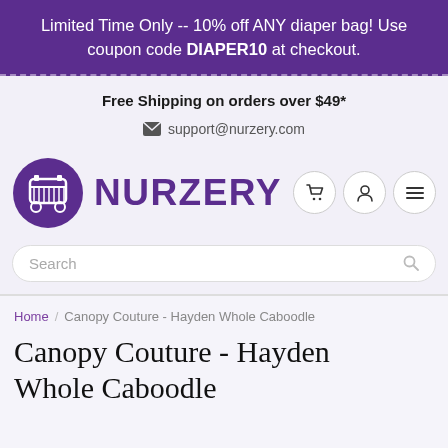Limited Time Only -- 10% off ANY diaper bag! Use coupon code DIAPER10 at checkout.
Free Shipping on orders over $49*
✉ support@nurzery.com
[Figure (logo): Nurzery logo with purple circle containing a baby crib icon and NURZERY text in purple]
Search
Home / Canopy Couture - Hayden Whole Caboodle
Canopy Couture - Hayden Whole Caboodle